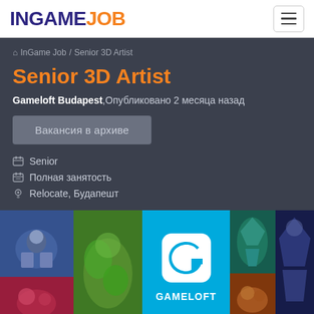INGAME JOB
InGame Job / Senior 3D Artist
Senior 3D Artist
Gameloft Budapest, Опубликовано 2 месяца назад
Вакансия в архиве
Senior
Полная занятость
Relocate, Будапешт
[Figure (screenshot): Game art image strip showing multiple Gameloft game screenshots and Gameloft logo in the center]